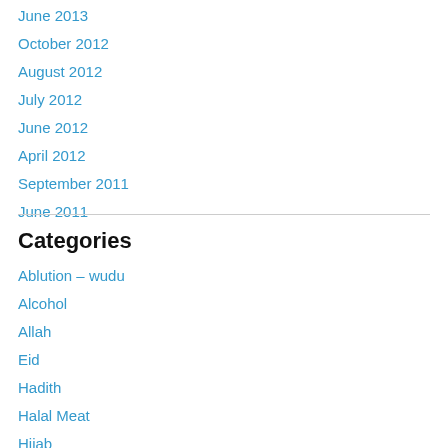June 2013
October 2012
August 2012
July 2012
June 2012
April 2012
September 2011
June 2011
Categories
Ablution – wudu
Alcohol
Allah
Eid
Hadith
Halal Meat
Hijab
Jesus